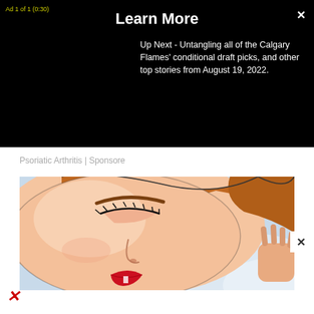Ad 1 of 1 (0:30)
Learn More
Up Next - Untangling all of the Calgary Flames' conditional draft picks, and other top stories from August 19, 2022.
Psoriatic Arthritis | Sponsore
[Figure (illustration): Cartoon/comic-style illustration of a person (woman) with auburn hair sleeping with eyes closed, red lips, resting on a light blue pillow. Close-up face view.]